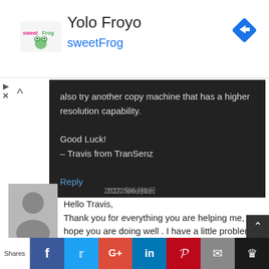[Figure (logo): sweetFrog logo with frog graphic, advertisement banner for Yolo Froyo sweetFrog with navigation arrow icon]
also try another copy machine that has a higher resolution capability.
Good Luck!
– Travis from TranSenz
Reply
Franklin 2022年5月6日
Hello Travis,
Thank you for everything you are helping me, I hope you are doing well . I have a little problem about the health certificate that my doctor left eyesight blank, is it okay to leave like that and
Shares  f  t  G+  in  P  mail  crown